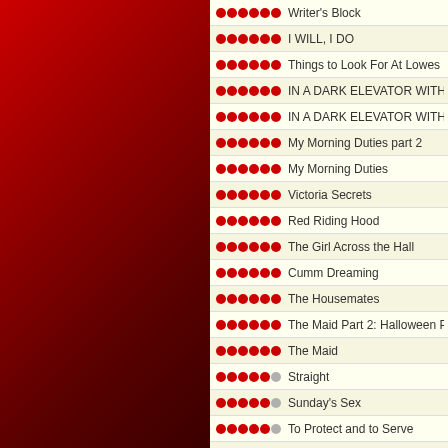[Figure (illustration): Dark red gradient background panel on the left side of the page]
●●●●●● Writer's Block
●●●●●● I WILL, I DO
●●●●●● Things to Look For At Lowes
●●●●●● IN A DARK ELEVATOR WITH A STR
●●●●●● IN A DARK ELEVATOR WITH A STR
●●●●●● My Morning Duties part 2
●●●●●● My Morning Duties
●●●●●● Victoria Secrets
●●●●●● Red Riding Hood
●●●●●● The Girl Across the Hall
●●●●●● Cumm Dreaming
●●●●●● The Housemates
●●●●●● The Maid Part 2: Halloween Party Tr
●●●●●● The Maid
●●●●●○ Straight
●●●●●○ Sunday's Sex
●●●●●○ To Protect and to Serve
●●●●●○ The Gift
●●●●●○ A Blast from the Past
●●●●●● My Vacation
●●●●●○ Wanting